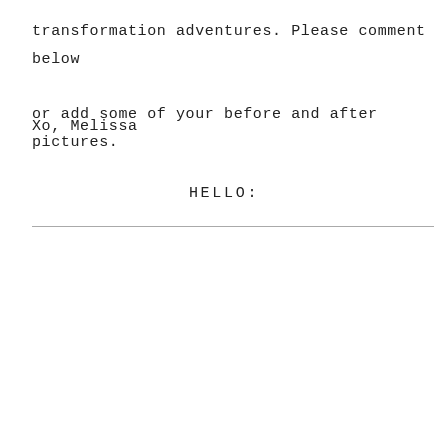transformation adventures. Please comment below or add some of your before and after pictures.
Xo, Melissa
HELLO: